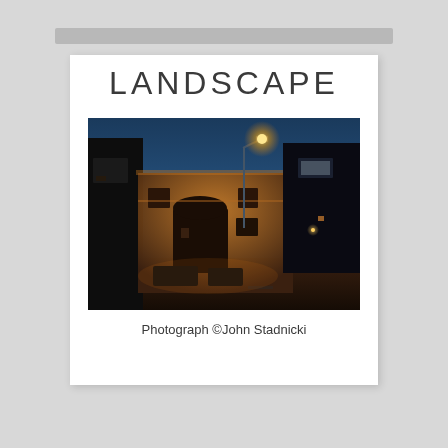LANDSCAPE
[Figure (photo): Nighttime urban street scene with an illuminated building on the left bathed in warm orange street lamp light, a street lamp glowing overhead, and a dark silhouetted building on the right against a deep blue twilight sky.]
Photograph ©John Stadnicki